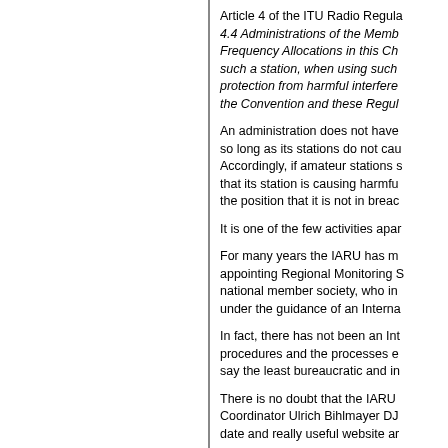Article 4 of the ITU Radio Regulations states in section 4.4 Administrations of the Member States shall not assign to a station any Frequency Allocations in this Chapter and which would be in breach of the provisions associated with such a station, when using such frequency, shall not claim protection from harmful interference from a station operating in accordance with the Convention and these Regulations.
An administration does not have to register its amateur frequencies, so long as its stations do not cause interference to registered services. Accordingly, if amateur stations start causing interference they may find that its station is causing harmful interference but the amateur can take the position that it is not in breach of the regulations.
It is one of the few activities apart from broadcasting...
For many years the IARU has maintained a monitoring system by appointing Regional Monitoring System (MS) Coordinators from each national member society, who in turn appoint national coordinators under the guidance of an International MS Coordinator.
In fact, there has not been an International MS Coordinator and the procedures and the processes established over the years have been to say the least bureaucratic and in need of revision.
There is no doubt that the IARU Region 1 (Europe/Africa) MS Coordinator Ulrich Bihlmayer DJ5BV has done an excellent job. His up to date and really useful website and...
If you look at the IARU Region 3 (Asia/Pacific) website you will see the IARU Region 3 MS Coordinator has done an excellent job liaising with the other Regional coordinators...